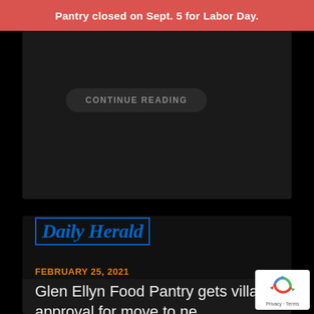Pantry closed on Sept. 5 for Labor Day.
CONTINUE READING
[Figure (logo): Daily Herald newspaper logo in blue italic serif font with border]
FEBRUARY 25, 2021
Glen Ellyn Food Pantry gets village approval for move to new home
[Figure (other): Google reCAPTCHA badge with privacy and terms links]